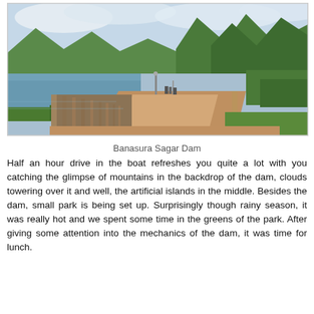[Figure (photo): Photo of Banasura Sagar Dam showing a wide road/walkway along the dam with a railing on the left side, a reservoir with mountains in the background, lamp posts along the path, and a few people walking in the distance.]
Banasura Sagar Dam
Half an hour drive in the boat refreshes you quite a lot with you catching the glimpse of mountains in the backdrop of the dam, clouds towering over it and well, the artificial islands in the middle. Besides the dam, small park is being set up. Surprisingly though rainy season, it was really hot and we spent some time in the greens of the park. After giving some attention into the mechanics of the dam, it was time for lunch.